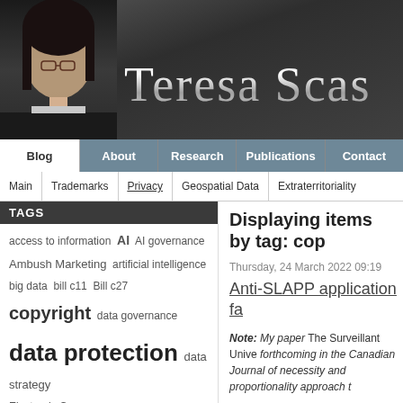[Figure (photo): Website header banner showing a woman with dark hair and glasses on the left, and the text 'Teresa Scas' in large silver serif font on a dark gray background]
Blog | About | Research | Publications | Contact
Main | Trademarks | Privacy | Geospatial Data | Extraterritoriality
TAGS
access to information
AI
AI governance
Ambush Marketing
artificial intelligence
big data
bill c11
Bill c27
copyright
data governance
data protection
data strategy
Electronic Commerce
freedom of expression
Geospatial
geospatial data
Displaying items by tag: cop
Thursday, 24 March 2022 09:19
Anti-SLAPP application fa
Note: My paper The Surveillant Unive forthcoming in the Canadian Journal of necessity and proportionality approach t